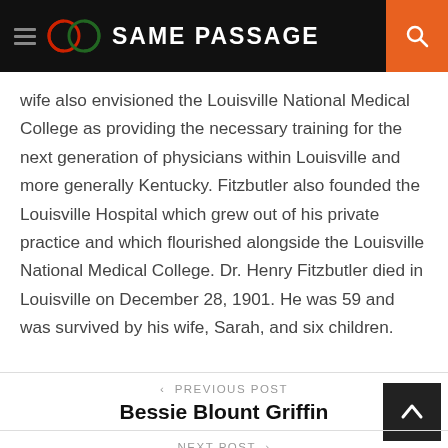SAME PASSAGE
wife also envisioned the Louisville National Medical College as providing the necessary training for the next generation of physicians within Louisville and more generally Kentucky. Fitzbutler also founded the Louisville Hospital which grew out of his private practice and which flourished alongside the Louisville National Medical College. Dr. Henry Fitzbutler died in Louisville on December 28, 1901. He was 59 and was survived by his wife, Sarah, and six children.
< PREVIOUS POST
Bessie Blount Griffin
NEXT POST >
Raymond Lee Washington